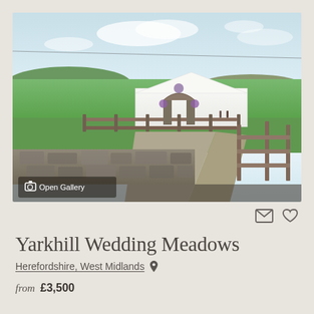[Figure (photo): Outdoor wedding venue showing a white marquee tent with a floral stone archway entrance, surrounded by green fields, a gravel driveway, a wooden fence, and a stone wall in the foreground. Sunny countryside setting.]
Open Gallery
Yarkhill Wedding Meadows
Herefordshire, West Midlands
from £3,500